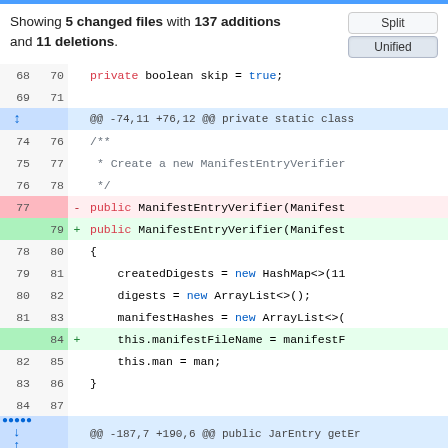Showing 5 changed files with 137 additions and 11 deletions.
[Figure (screenshot): Unified diff view of Java code showing changes to ManifestEntryVerifier constructor, with line numbers, added/removed lines highlighted in green/red, and hunk headers in blue.]